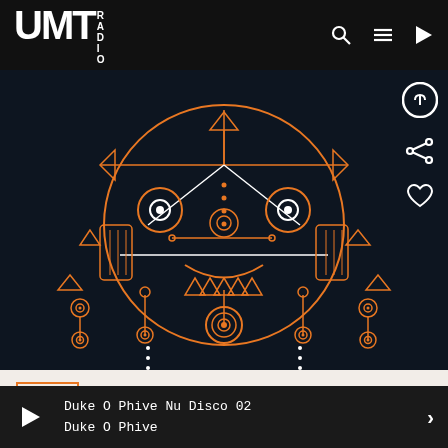UMT RADIO
[Figure (illustration): Abstract geometric face illustration with orange and white line art on dark navy background — tribal/mandala-style face with concentric circles, triangles, and symmetric patterns]
NEWS
SEA VIEW
4 AUGUST 2022  9
Duke O Phive Nu Disco 02
Duke O Phive